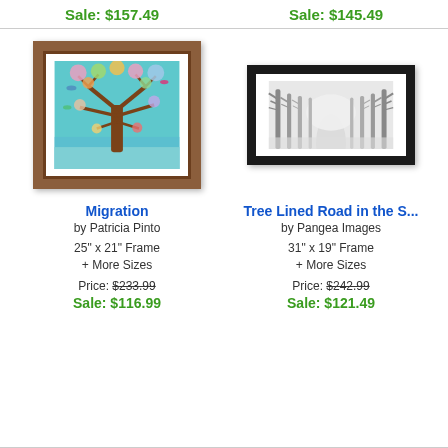Sale: $157.49
Sale: $145.49
[Figure (illustration): Framed art print: colorful tree with birds on teal background, brown wooden frame]
[Figure (photo): Framed black and white photo of tree-lined road in snow/fog, black frame]
Migration
by Patricia Pinto
25" x 21" Frame
+ More Sizes
Price: $233.99
Sale: $116.99
Tree Lined Road in the S...
by Pangea Images
31" x 19" Frame
+ More Sizes
Price: $242.99
Sale: $121.49